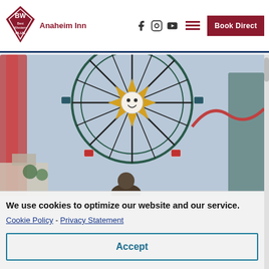[Figure (logo): Best Western PLUS logo diamond shape with BW initials]
Anaheim Inn
[Figure (photo): Ferris wheel at an amusement park with a sun/smile face in the center, colorful structure with riders visible, person's head silhouetted in foreground]
We use cookies to optimize our website and our service.
Cookie Policy -  Privacy Statement
Accept